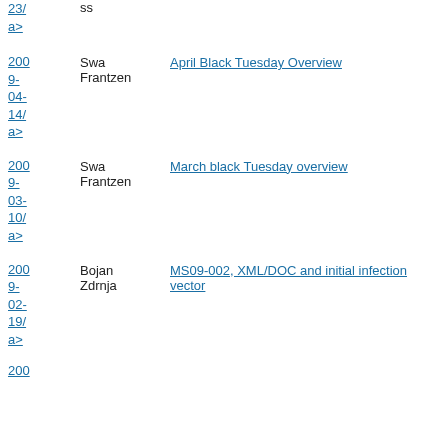23/ a> ss
2009-04-14/ a> Swa Frantzen April Black Tuesday Overview
2009-03-10/ a> Swa Frantzen March black Tuesday overview
2009-02-19/ a> Bojan Zdrnja MS09-002, XML/DOC and initial infection vector
200